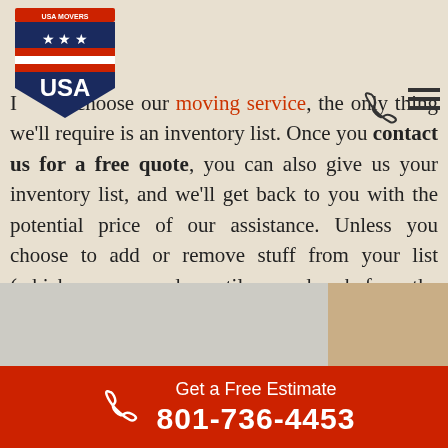[Figure (logo): USA Movers logo: shield with stars and stripes, red white and blue, text USA]
If you choose our moving service, the only thing we'll require is an inventory list. Once you contact us for a free quote, you can also give us your inventory list, and we'll get back to you with the potential price of our assistance. Unless you choose to add or remove stuff from your list (which you can do until one day before the relocation date), the price of your move won't change.
[Figure (photo): Moving boxes photo at bottom of page]
Get a Free Estimate 801-736-4453